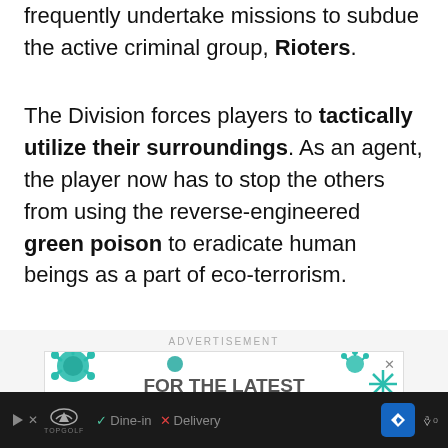frequently undertake missions to subdue the active criminal group, Rioters.
The Division forces players to tactically utilize their surroundings. As an agent, the player now has to stop the others from using the reverse-engineered green poison to eradicate human beings as a part of eco-terrorism.
[Figure (infographic): Advertisement banner reading FOR THE LATEST ON COVID-19 GO TO THE with teal coronavirus particle illustrations in corners and a close button (X) in top right]
Topgolf ad footer with play button, logo, Dine-in check mark, X Delivery, navigation icon, weather icon